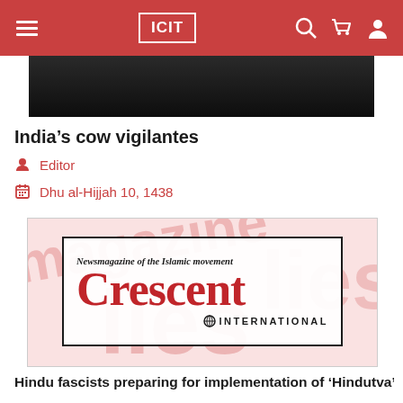ICIT
[Figure (photo): Dark background image of cow vigilantes article header photo]
India’s cow vigilantes
Editor
Dhu al-Hijjah 10, 1438
[Figure (logo): Crescent International magazine logo — Newsmagazine of the Islamic movement]
Hindu fascists preparing for implementation of ‘Hindutva’ a